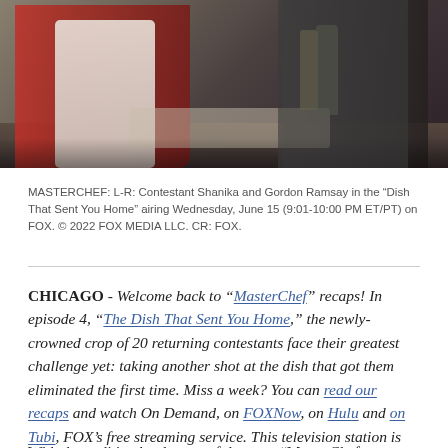[Figure (photo): Kitchen scene showing Contestant Shanika (in white apron with red logo) and Gordon Ramsay cooking at a kitchen counter with equipment and bottles visible]
MASTERCHEF: L-R: Contestant Shanika and Gordon Ramsay in the “Dish That Sent You Home” airing Wednesday, June 15 (9:01-10:00 PM ET/PT) on FOX. © 2022 FOX MEDIA LLC. CR: FOX.
CHICAGO - Welcome back to "MasterChef" recaps! In episode 4, "The Dish That Sent You Home," the newly-crowned crop of 20 returning contestants face their greatest challenge yet: taking another shot at the dish that got them eliminated the first time. Miss a week? You can read our recaps and watch On Demand, on FOXNow, on Hulu and on Tubi, FOX’s free streaming service. This television station is owned by the FOX Corporation.
With the audition battles out of the way, "MasterChef